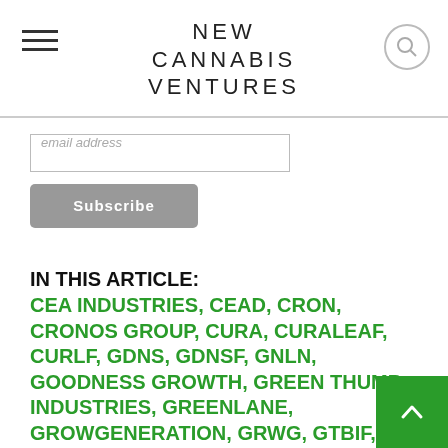NEW CANNABIS VENTURES
email address
Subscribe
IN THIS ARTICLE:
CEA INDUSTRIES, CEAD, CRON, CRONOS GROUP, CURA, CURALEAF, CURLF, GDNS, GDNSF, GNLN, GOODNESS GROWTH, GREEN THUMB INDUSTRIES, GREENLANE, GROWGENERATION, GRWG, GTBIF, GTI, GTII, LOWELL FARMS, LOWL, LOWLF, OCL, ORGANIGRAM, PLANET 13, PLNHF